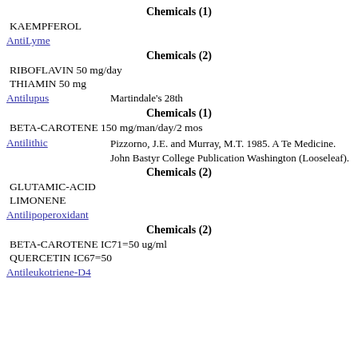Chemicals (1)
KAEMPFEROL
AntiLyme
Chemicals (2)
RIBOFLAVIN 50 mg/day
THIAMIN 50 mg
Antilupus    Martindale's 28th
Chemicals (1)
BETA-CAROTENE 150 mg/man/day/2 mos
Antilithic    Pizzorno, J.E. and Murray, M.T. 1985. A Te Medicine. John Bastyr College Publication Washington (Looseleaf).
Chemicals (2)
GLUTAMIC-ACID
LIMONENE
Antilipoperoxidant
Chemicals (2)
BETA-CAROTENE IC71=50 ug/ml
QUERCETIN IC67=50
Antileukotriene-D4